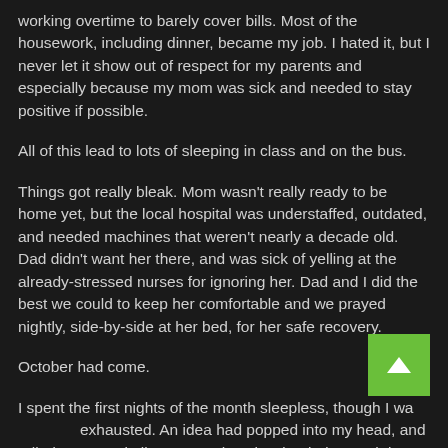working overtime to barely cover bills. Most of the housework, including dinner, became my job. I hated it, but I never let it show out of respect for my parents and especially because my mom was sick and needed to stay positive if possible.
All of this lead to lots of sleeping in class and on the bus.
Things got really bleak. Mom wasn't really ready to be home yet, but the local hospital was understaffed, outdated, and needed machines that weren't nearly a decade old. Dad didn't want her there, and was sick of yelling at the already-stressed nurses for ignoring her. Dad and I did the best we could to keep her comfortable and we prayed nightly, side-by-side at her bed, for her safe recovery.
October had come.
I spent the first nights of the month sleepless, though I was exhausted. An idea had popped into my head, and rolled around in my skull no matter how hard I tried to push it out. Obsessed and half-demented from fatigue, I borrowed the car one morning. I said I was driving up to the supermarket to get some essentials, and I